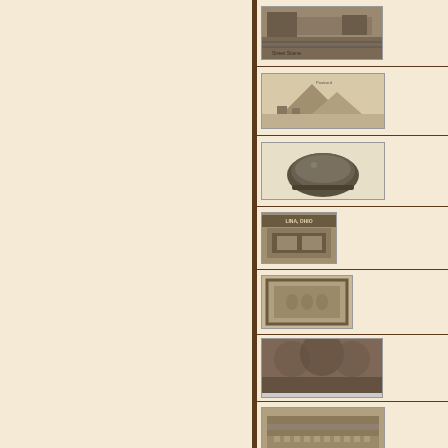[Figure (photo): Antique postcard or photograph showing a street/railway scene, sepia tone]
[Figure (photo): Antique postcard showing landscape with mountains and buildings, sepia/beige tone]
[Figure (photo): Antique photograph of a military helmet on a light background]
[Figure (photo): Small photograph of a building storefront with text 'LINA, OHIO']
[Figure (photo): Framed antique photograph of a group of people, sepia tone]
[Figure (photo): Blurry sepia photograph of a large crowd or trees]
[Figure (photo): Sepia photograph of a large multi-story building with trees in foreground]